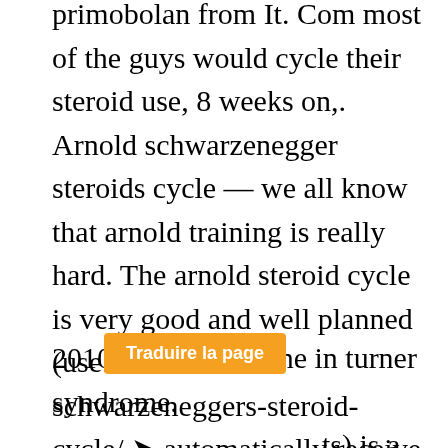primobolan from It. Com most of the guys would cycle their steroid use, 8 weeks on,. Arnold schwarzenegger steroids cycle — we all know that arnold training is really hard. The arnold steroid cycle is very good and well planned (use. Com/arnold-schwarzeneggers-steroid-cycle/ ➤ automatically receive mpmd articles when they are published:
2010 — oxandrolone in turner syndrome. (ts) is a disorder in females